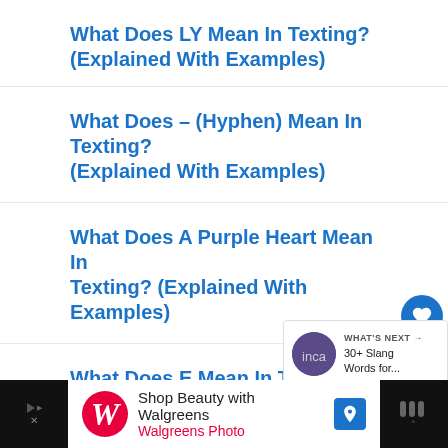What Does LY Mean In Texting? (Explained With Examples)
What Does – (Hyphen) Mean In Texting? (Explained With Examples)
What Does A Purple Heart Mean In Texting? (Explained With Examples)
What Does E Mean In Texting? (Explained With Examples)
What Does ???? Mean In Texting? (Explained With Examples)
[Figure (infographic): Sidebar with heart (like) button showing count 2, and share button]
[Figure (infographic): What's Next widget showing thumbnail and '30+ Slang Words for...' text]
[Figure (infographic): Walgreens advertisement banner at bottom: 'Shop Beauty with Walgreens / Walgreens Photo']